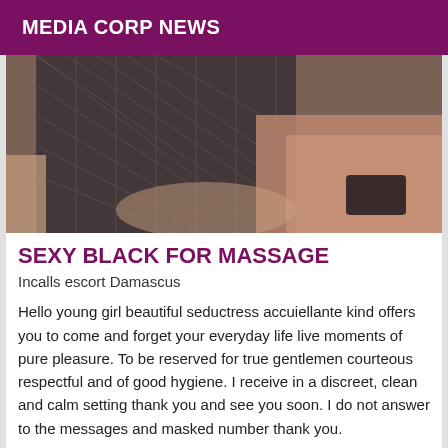MEDIA CORP NEWS
[Figure (photo): Close-up photo of a person wearing fishnet stockings, lying on pink and brown fabric with a dark phone visible]
SEXY BLACK FOR MASSAGE
Incalls escort Damascus
Hello young girl beautiful seductress accuiellante kind offers you to come and forget your everyday life live moments of pure pleasure. To be reserved for true gentlemen courteous respectful and of good hygiene. I receive in a discreet, clean and calm setting thank you and see you soon. I do not answer to the messages and masked number thank you.
[Figure (photo): Partial photo of a person, cropped at bottom of page]